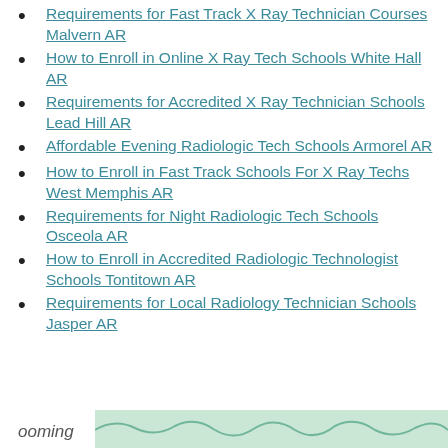Requirements for Fast Track X Ray Technician Courses Malvern AR
How to Enroll in Online X Ray Tech Schools White Hall AR
Requirements for Accredited X Ray Technician Schools Lead Hill AR
Affordable Evening Radiologic Tech Schools Armorel AR
How to Enroll in Fast Track Schools For X Ray Techs West Memphis AR
Requirements for Night Radiologic Tech Schools Osceola AR
How to Enroll in Accredited Radiologic Technologist Schools Tontitown AR
Requirements for Local Radiology Technician Schools Jasper AR